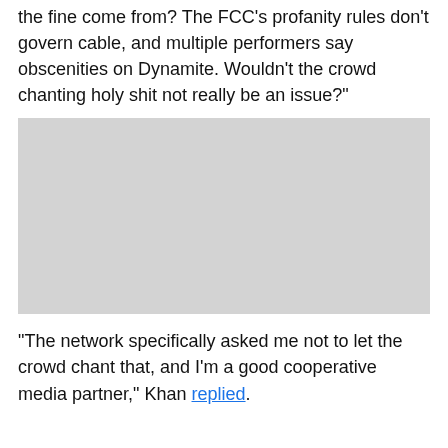the fine come from? The FCC's profanity rules don't govern cable, and multiple performers say obscenities on Dynamite. Wouldn't the crowd chanting holy shit not really be an issue?"
[Figure (photo): A large light gray rectangular image placeholder]
"The network specifically asked me not to let the crowd chant that, and I'm a good cooperative media partner," Khan replied.